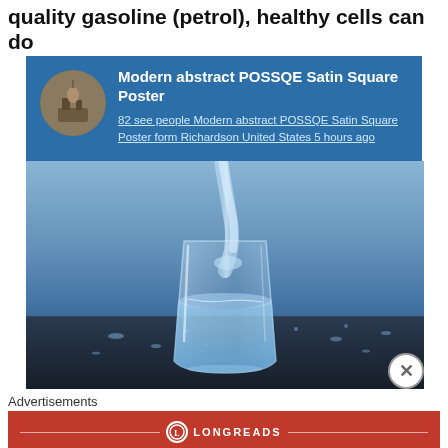quality gasoline (petrol), healthy cells can do
[Figure (other): Advertisement popup with blue background showing a circular thumbnail image on the left and text on the right. Title: 'Modern abstract POSSQE Satin Square Poster'. Link text: '82 see people Modern abstract POSSQE Satin Square Poster form Richardson United States 5 hours ago']
[Figure (photo): Photo of water being poured into a glass tumbler on a dark wet surface with water droplets, blue background]
Advertisements
[Figure (other): Longreads advertisement banner in red with circular logo, text: 'The best stories on the web — ours, and everyone else's.']
REPORT THIS AD